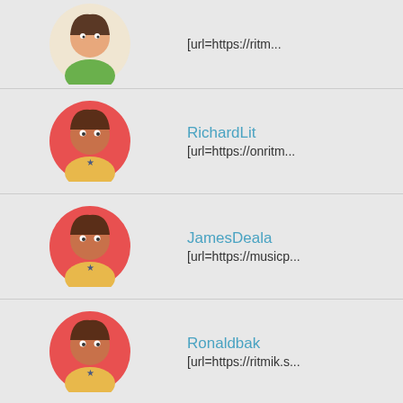[url=https://ritm...
RichardLit
[url=https://onritm...
JamesDeala
[url=https://musicp...
Ronaldbak
[url=https://ritmik.s...
HaroldOxink
[url=https://newritn...
KennethPep
[url=https://ritmpar...